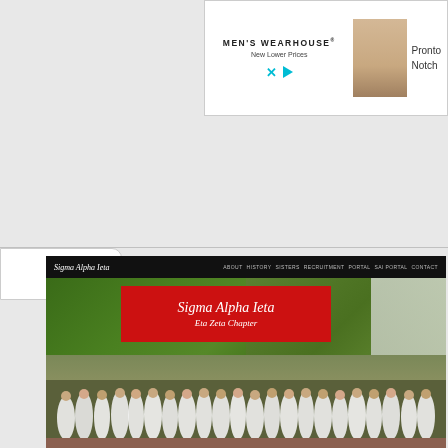[Figure (screenshot): Advertisement banner for Men's Wearhouse with 'New Lower Prices' tagline, showing a man in a suit, with close/play controls. Partial text 'Pronto Notch' visible on right side.]
[Figure (screenshot): Screenshot of Sigma Alpha Iota fraternity/sorority website showing navigation bar with links (About, History, Sisters, Recruitment, Portal, SAI Portal, Contact), a red banner overlay reading 'Sigma Alpha Iota Eta Zeta Chapter' in script font, and a group photo of many women dressed in white standing outdoors in front of a building with trees.]